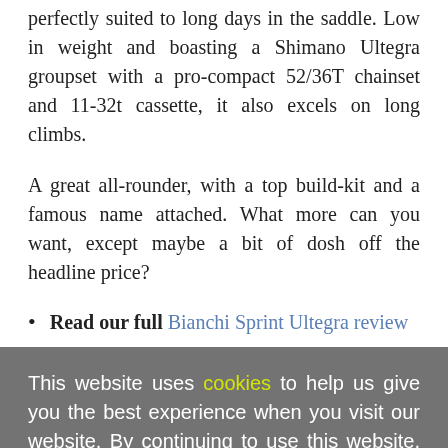perfectly suited to long days in the saddle. Low in weight and boasting a Shimano Ultegra groupset with a pro-compact 52/36T chainset and 11-32t cassette, it also excels on long climbs.
A great all-rounder, with a top build-kit and a famous name attached. What more can you want, except maybe a bit of dosh off the headline price?
Read our full Bianchi Sprint Ultegra review
This website uses cookies to help us give you the best experience when you visit our website. By continuing to use this website, you consent to our use of these cookies.